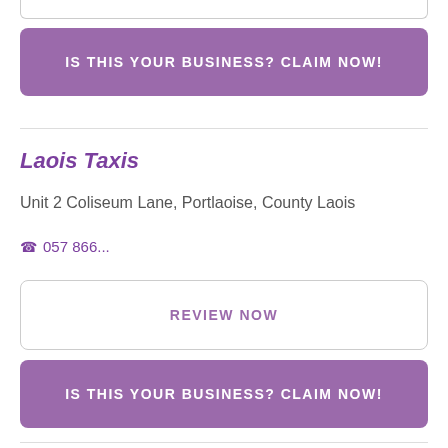[Figure (other): Top partial box border (bottom of previous card)]
IS THIS YOUR BUSINESS? CLAIM NOW!
Laois Taxis
Unit 2 Coliseum Lane, Portlaoise, County Laois
057 866...
REVIEW NOW
IS THIS YOUR BUSINESS? CLAIM NOW!